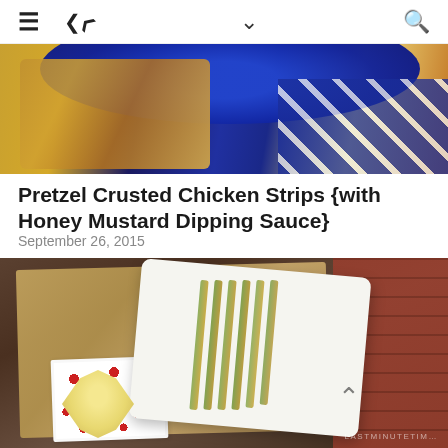☰  ⋖  ⌄  🔍
[Figure (photo): Partial top photo showing a blue plate with food and a blue plaid cloth napkin]
Pretzel Crusted Chicken Strips {with Honey Mustard Dipping Sauce}
September 26, 2015
[Figure (photo): Overhead photo of pretzel crusted chicken strips on a white rectangular plate, with a small bowl of honey mustard dipping sauce on a red floral napkin, set on burlap over a wood surface with brick visible on the right]